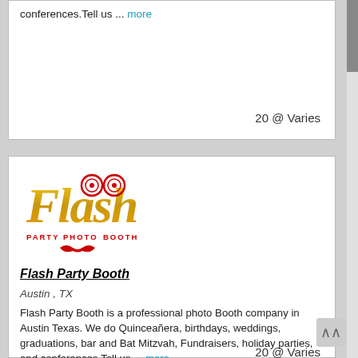conferences.Tell us ... more
20 @ Varies
[Figure (logo): Flash Party Photo Booth logo — gold script 'Flash' with camera lens icons as the two o's, red mustache accent, text 'PARTY PHOTO BOOTH' below]
Flash Party Booth
Austin , TX
Flash Party Booth is a professional photo Booth company in Austin Texas. We do Quinceañera, birthdays, weddings, graduations, bar and Bat Mitzvah, Fundraisers, holiday parties, and conferences.Tell us ... more
20 @ Varies